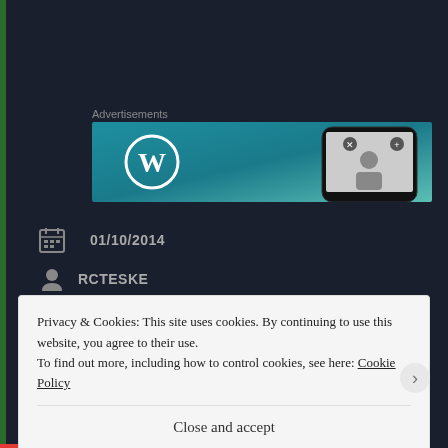Advertisements
[Figure (screenshot): WordPress advertisement banner with WordPress logo and phone image on teal/blue gradient background]
01/10/2014
RCTESKE
WORK
LEAVE A COMMENT
Privacy & Cookies: This site uses cookies. By continuing to use this website, you agree to their use.
To find out more, including how to control cookies, see here: Cookie Policy
Close and accept